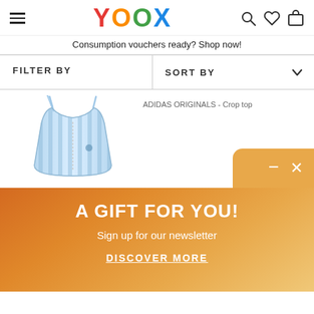YOOX
Consumption vouchers ready? Shop now!
FILTER BY
SORT BY
[Figure (photo): Blue striped crop top with spaghetti straps and front zip, light blue color with subtle vertical stripes and small logo detail]
ADIDAS ORIGINALS - Crop top
A GIFT FOR YOU!
Sign up for our newsletter
DISCOVER MORE